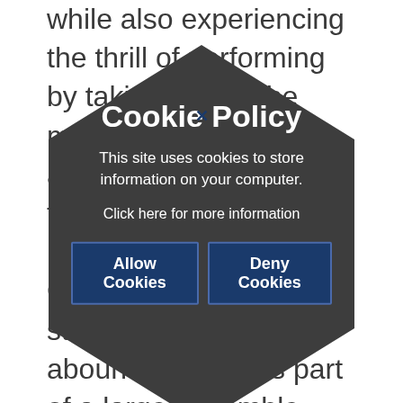while also experiencing the thrill of performing by taking part in the many extracurricular activities organised by the Music Department.
Opportunities for students to perform abound, as well as part of a large ensemble. Cambridge Carol Concert at Trafalgar Square, large-scale productions in collaboration with the Drama Department, and the Senior Carol Concert at Trafalgar Square.
Alongside peripatetic music lessons, students will have the chance to join one of
[Figure (other): Cookie Policy modal dialog overlaid on page content. Dark hexagon-shaped overlay with title 'Cookie Policy', body text 'This site uses cookies to store information on your computer.', link 'Click here for more information', and two buttons: 'Allow Cookies' and 'Deny Cookies'. A close (x) button appears at top center.]